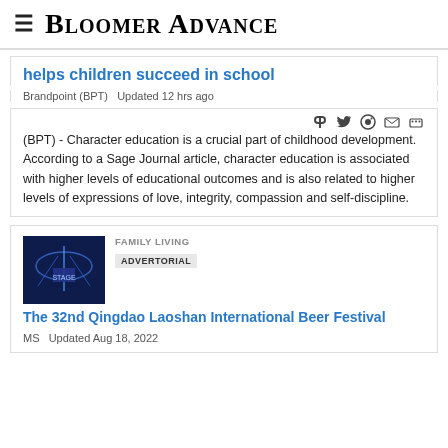Bloomer Advance
helps children succeed in school
Brandpoint (BPT)   Updated 12 hrs ago
(BPT) - Character education is a crucial part of childhood development. According to a Sage Journal article, character education is associated with higher levels of educational outcomes and is also related to higher levels of expressions of love, integrity, compassion and self-discipline.
FAMILY LIVING
ADVERTORIAL
The 32nd Qingdao Laoshan International Beer Festival
MS   Updated Aug 18, 2022